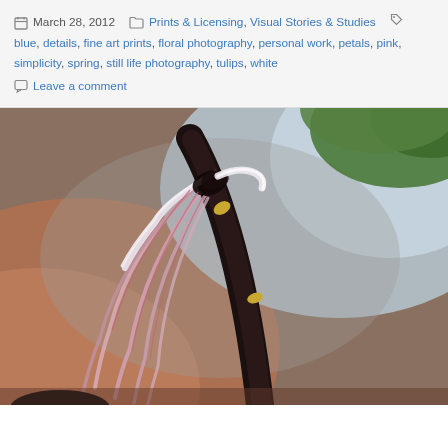March 28, 2012  Prints & Licensing, Visual Stories & Studies  blue, details, fine art prints, floral photography, personal work, petals, pink, simplicity, spring, still life photography, tulips, white  Leave a comment
[Figure (photo): Close-up macro photograph of a drooping tulip petal with pink and white coloring and dark stem, against a blurred bokeh background of warm brown and soft blue tones, with green leaves visible in upper right.]